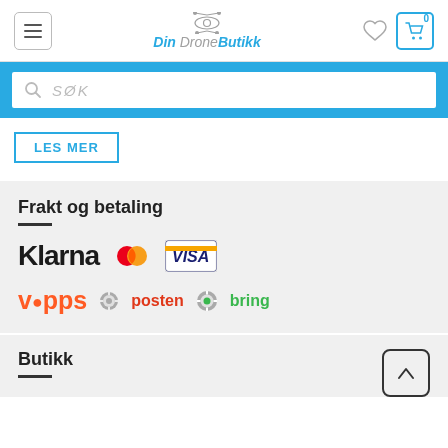[Figure (logo): Din DroneButikk logo with gear/drone icon, text 'Din Drone Butikk' in blue and gray]
[Figure (screenshot): Search bar with blue background, magnifying glass icon and placeholder text 'SØK']
LES MER
Frakt og betaling
[Figure (logo): Payment logos: Klarna, MasterCard, VISA]
[Figure (logo): Payment/shipping logos: Vipps, Posten, Bring]
Butikk